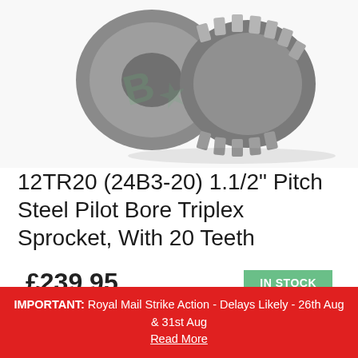[Figure (photo): Metal triplex sprocket with teeth, steel pilot bore, 24B3-20 product photo]
12TR20 (24B3-20) 1.1/2" Pitch Steel Pilot Bore Triplex Sprocket, With 20 Teeth
£239.95
Excl. Tax: £199.96
IN STOCK
SKU#:  24B3-20
IMPORTANT: Royal Mail Strike Action - Delays Likely - 26th Aug & 31st Aug Read More